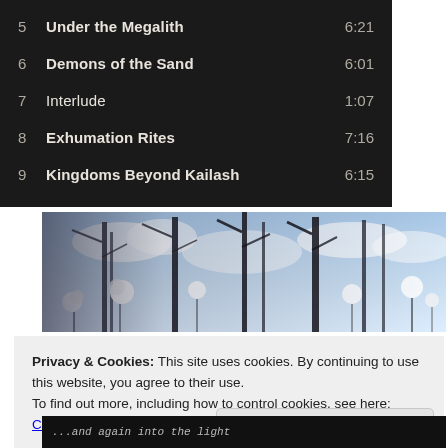| # | Title | Duration |
| --- | --- | --- |
| 5 | Under the Megalith | 6:21 |
| 6 | Demons of the Sand | 6:01 |
| 7 | Interlude | 1:07 |
| 8 | Exhumation Rites | 7:16 |
| 9 | Kingdoms Beyond Kailash | 6:15 |
[Figure (photo): Nature photo showing bare trees silhouetted against a bright sky with white fluffy seed heads of plants in the foreground]
Privacy & Cookies: This site uses cookies. By continuing to use this website, you agree to their use.
To find out more, including how to control cookies, see here: Cookie Policy
[Figure (photo): Dark strip at bottom with italic text '...and again into the light']